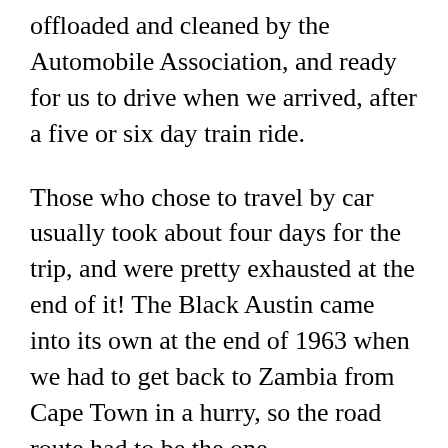offloaded and cleaned by the Automobile Association, and ready for us to drive when we arrived, after a five or six day train ride.
Those who chose to travel by car usually took about four days for the trip, and were pretty exhausted at the end of it! The Black Austin came into its own at the end of 1963 when we had to get back to Zambia from Cape Town in a hurry, so the road route had to be the one…
We did it in two and a half days!